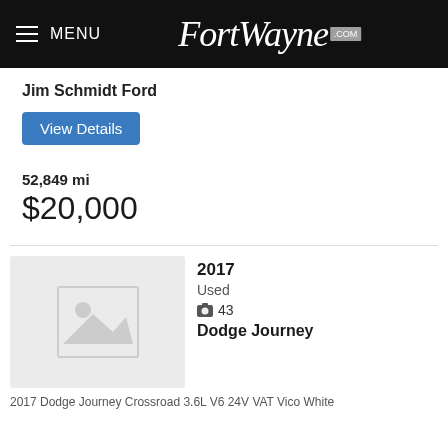MENU FortWayne.com
Jim Schmidt Ford
View Details
52,849 mi
$20,000
[Figure (photo): Placeholder image with generic landscape/mountain icon on a light grey background]
2017
Used
43
Dodge Journey
2017 Dodge Journey Crossroad 3.6L V6 24V VAT Vico White